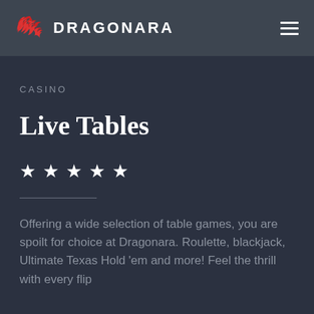DRAGONARA
CASINO
Live Tables
★ ★ ★ ★ ★
Offering a wide selection of table games, you are spoilt for choice at Dragonara. Roulette, blackjack, Ultimate Texas Hold 'em and more! Feel the thrill with every flip